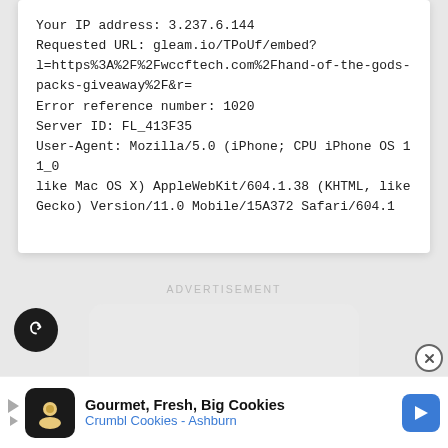Your IP address: 3.237.6.144
Requested URL: gleam.io/TPoUf/embed?l=https%3A%2F%2Fwccftech.com%2Fhand-of-the-gods-packs-giveaway%2F&r=
Error reference number: 1020
Server ID: FL_413F35
User-Agent: Mozilla/5.0 (iPhone; CPU iPhone OS 11_0 like Mac OS X) AppleWebKit/604.1.38 (KHTML, like Gecko) Version/11.0 Mobile/15A372 Safari/604.1
ADVERTISEMENT
[Figure (other): Gray rounded rectangle ad placeholder]
[Figure (other): Dark circular share/refresh button on the left side]
[Figure (other): Bottom advertisement banner: Gourmet, Fresh, Big Cookies / Crumbl Cookies - Ashburn with logo and blue arrow icon]